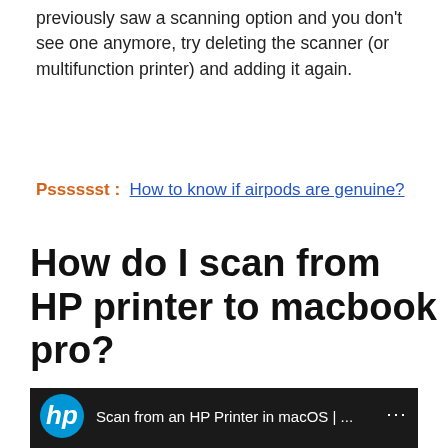previously saw a scanning option and you don't see one anymore, try deleting the scanner (or multifunction printer) and adding it again.
Psssssst :  How to know if airpods are genuine?
How do I scan from HP printer to macbook pro?
[Figure (screenshot): YouTube video thumbnail showing HP logo and title 'Scan from an HP Printer in macOS | ...' with a screenshot of HP Easy Scan software and text 'Scan from an HP pri...' at bottom]